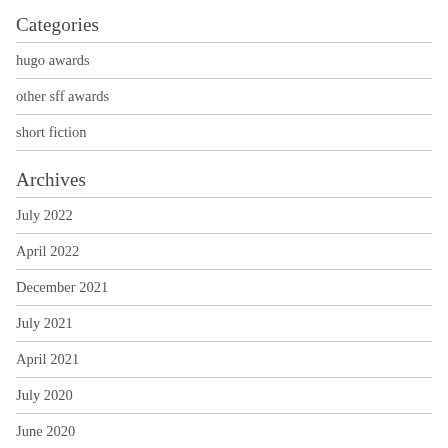Categories
hugo awards
other sff awards
short fiction
Archives
July 2022
April 2022
December 2021
July 2021
April 2021
July 2020
June 2020